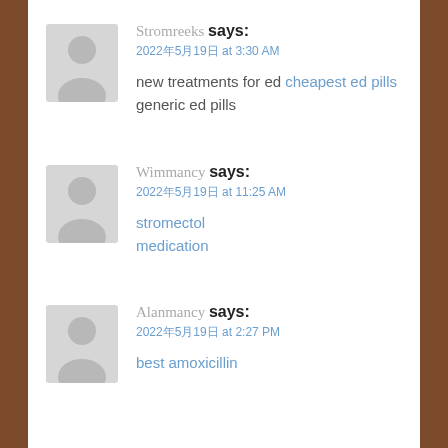[Figure (photo): Gray placeholder avatar silhouette for Stromreeks]
Stromreeks says:
2022年5月19日 at 3:30 AM
new treatments for ed cheapest ed pills generic ed pills
[Figure (photo): Gray placeholder avatar silhouette for Wimmancy]
Wimmancy says:
2022年5月19日 at 11:25 AM
stromectol medication
[Figure (photo): Gray placeholder avatar silhouette for Alanmancy]
Alanmancy says:
2022年5月19日 at 2:27 PM
best amoxicillin